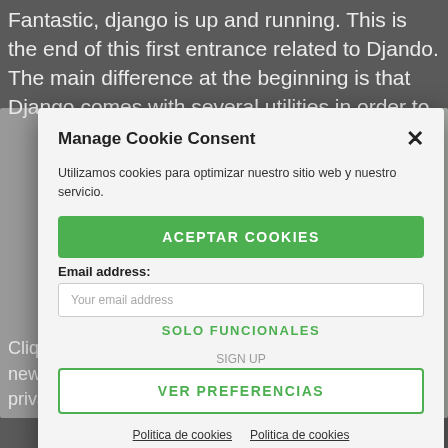Fantastic, django is up and running. This is the end of this first entrance related to Djando. The main difference at the beginning is that Django comes with several utilities in order to
[Figure (screenshot): Cookie consent modal dialog overlaid on a webpage. Title: 'Manage Cookie Consent'. Description text: 'Utilizamos cookies para optimizar nuestro sitio web y nuestro servicio.' Green 'ACEPTAR COOKIES' button, 'Email address:' label with placeholder input, 'SOLO FUNCIONALES' text, 'SIGN UP' ghost button with 'VER PREFERENCIAS' overlay, and two 'Politica de cookies' links at the bottom. Behind the modal are partially visible newsletter signup fields and confirmation text in Spanish and English.]
Gracias por unirte a la newsletter. Thanks for joining the newsletter.
Cliqz, a browser integrated with privacy